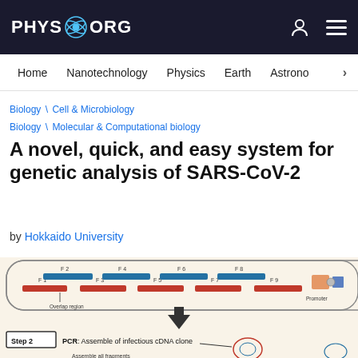PHYS.ORG
Home  Nanotechnology  Physics  Earth  Astronomy >
Biology \ Cell & Microbiology
Biology \ Molecular & Computational biology
A novel, quick, and easy system for genetic analysis of SARS-CoV-2
by Hokkaido University
[Figure (schematic): Scientific diagram showing PCR-based assembly of infectious cDNA clone. Top portion shows overlapping DNA fragment segments (F1-F9) with overlap regions and a promoter element. Step 2 label indicates PCR: Assemble of infectious cDNA clone. Bottom shows circular DNA constructs with arrows indicating assembly process. Text reads 'Assemble all fragments'.]